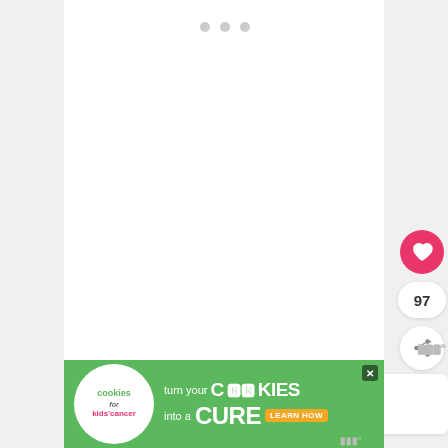[Figure (screenshot): A web page or app UI screenshot showing a loading indicator (three gray dots) on a white content area. On the right edge: a pink heart/like button, a count of 97, a share button, and a 'What's Next' card showing 'Best London Shopping...' with a thumbnail image. At the bottom is a green advertisement banner for 'cookies for kids cancer' with text 'turn your COOKIES into a CURE LEARN HOW' and a close button.]